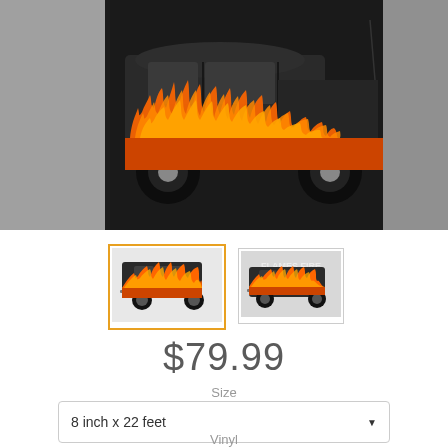[Figure (photo): Dark pickup truck with realistic flame vinyl wrap graphic along the lower body panel, shown in close-up side view. The flames are orange and red on a dark/black background. Gray side strips visible.]
[Figure (photo): Thumbnail 1 (selected, orange border): Dark pickup truck side view with flame decal along lower rocker panel area]
[Figure (photo): Thumbnail 2: Dark pickup truck side view with FLAMES FIRE text watermark and flame decal]
$79.99
Size
8 inch x 22 feet
Vinyl
3M 7-YR Vinyl